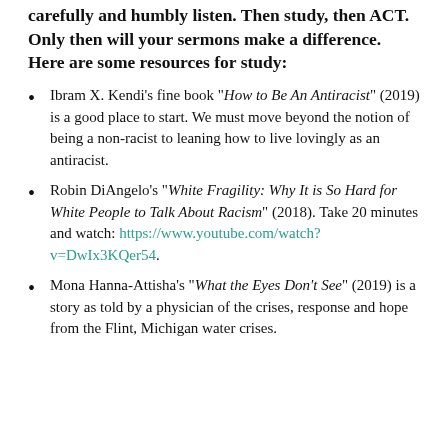carefully and humbly listen. Then study, then ACT. Only then will your sermons make a difference. Here are some resources for study:
Ibram X. Kendi's fine book "How to Be An Antiracist" (2019) is a good place to start. We must move beyond the notion of being a non-racist to leaning how to live lovingly as an antiracist.
Robin DiAngelo's "White Fragility: Why It is So Hard for White People to Talk About Racism" (2018). Take 20 minutes and watch: https://www.youtube.com/watch?v=DwIx3KQer54.
Mona Hanna-Attisha's "What the Eyes Don't See" (2019) is a story as told by a physician of the crises, response and hope from the Flint, Michigan water crises.